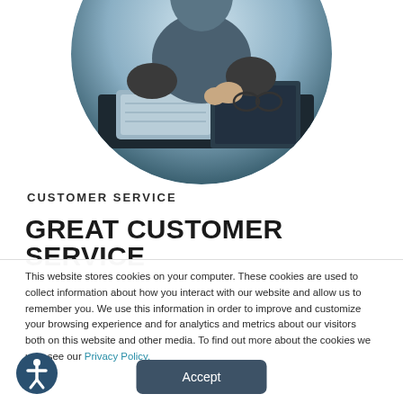[Figure (photo): Circular cropped photo of a person sitting at a desk with a keyboard and notebook, holding glasses, viewed from above/side angle.]
CUSTOMER SERVICE
GREAT CUSTOMER SERVICE
This website stores cookies on your computer. These cookies are used to collect information about how you interact with our website and allow us to remember you. We use this information in order to improve and customize your browsing experience and for analytics and metrics about our visitors both on this website and other media. To find out more about the cookies we use, see our Privacy Policy.